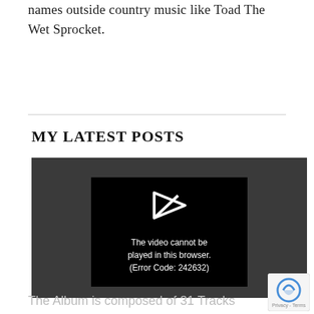names outside country music like Toad The Wet Sprocket.
MY LATEST POSTS
[Figure (screenshot): Video player showing error message: The video cannot be played in this browser. (Error Code: 242632)]
The Album is composed of 31 Tracks